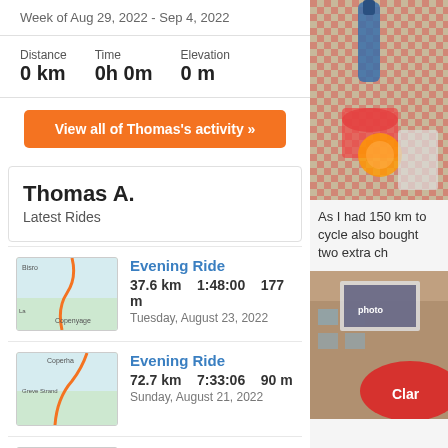Week of Aug 29, 2022 - Sep 4, 2022
Distance 0 km   Time 0h 0m   Elevation 0 m
View all of Thomas's activity »
Thomas A.
Latest Rides
Evening Ride – 37.6 km  1:48:00  177 m – Tuesday, August 23, 2022
Evening Ride – 72.7 km  7:33:06  90 m – Sunday, August 21, 2022
Night Ride – 77.3 km  6:22:11  411 m – Saturday, August 13, 2022
Evening Ride
[Figure (photo): Photo of drinks and food on a red checkered tablecloth]
As I had 150 km to cycle also bought two extra ch
[Figure (photo): Photo of a building with a banner and a red umbrella showing 'Claro' branding]